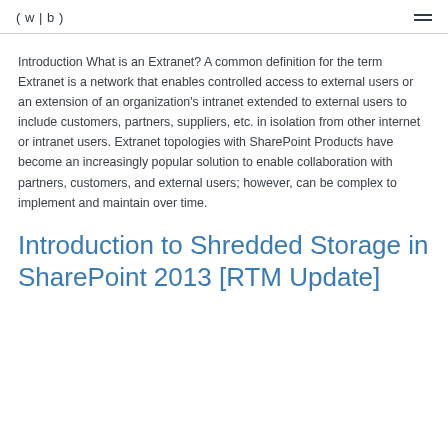( w | b )
Introduction What is an Extranet? A common definition for the term Extranet is a network that enables controlled access to external users or an extension of an organization's intranet extended to external users to include customers, partners, suppliers, etc. in isolation from other internet or intranet users. Extranet topologies with SharePoint Products have become an increasingly popular solution to enable collaboration with partners, customers, and external users; however, can be complex to implement and maintain over time.
Introduction to Shredded Storage in SharePoint 2013 [RTM Update]